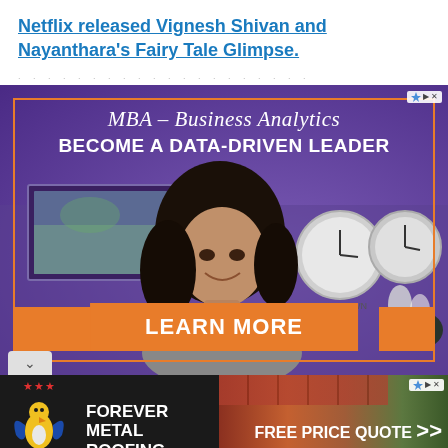Netflix released Vignesh Shivan and Nayanthara's Fairy Tale Glimpse.
[Figure (photo): Advertisement banner for MBA – Business Analytics program. Purple background with a woman smiling, clocks on the wall, text 'MBA – Business Analytics', 'BECOME A DATA-DRIVEN LEADER', orange 'LEARN MORE' button, orange border frame.]
[Figure (photo): Advertisement banner for AMR (American Metal Roofing) 'Forever Metal Roofing' with eagle logo and stars on dark background, and a right panel showing a red/wood deck background with 'FREE PRICE QUOTE' text and arrow.]